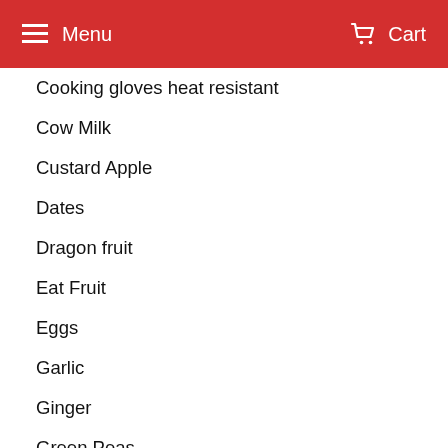Menu   Cart
Cooking gloves heat resistant
Cow Milk
Custard Apple
Dates
Dragon fruit
Eat Fruit
Eggs
Garlic
Ginger
Green Peas
grill gloves heat resistant
Grill Heat Aid
grilling gloves
Guava
Health Benefits